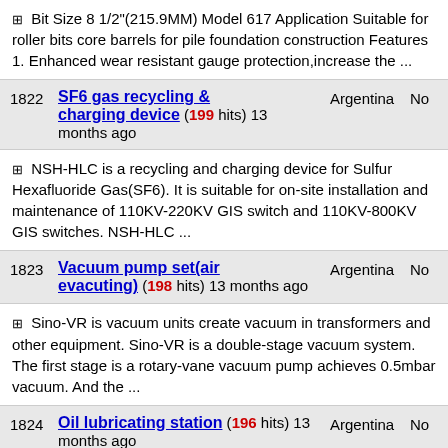+ Bit Size 8 1/2"(215.9MM) Model 617 Application Suitable for roller bits core barrels for pile foundation construction Features 1. Enhanced wear resistant gauge protection,increase the ...
1822 SF6 gas recycling & charging device (199 hits) 13 months ago — Argentina — No
+ NSH-HLC is a recycling and charging device for Sulfur Hexafluoride Gas(SF6). It is suitable for on-site installation and maintenance of 110KV-220KV GIS switch and 110KV-800KV GIS switches. NSH-HLC ...
1823 Vacuum pump set(air evacuting) (198 hits) 13 months ago — Argentina — No
+ Sino-VR is vacuum units create vacuum in transformers and other equipment. Sino-VR is a double-stage vacuum system. The first stage is a rotary-vane vacuum pump achieves 0.5mbar vacuum. And the ...
1824 Oil lubricating station (196 hits) 13 months ago — Argentina — No
+ Sino-NSH-DPCS is an oil filtration and lubricating